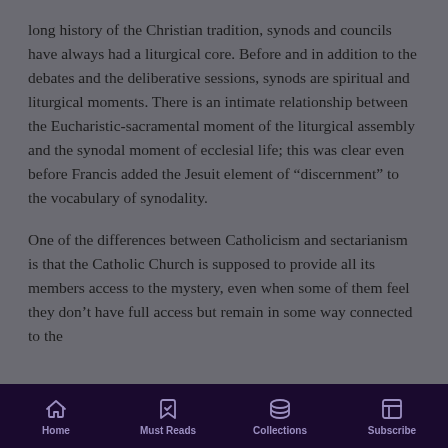long history of the Christian tradition, synods and councils have always had a liturgical core. Before and in addition to the debates and the deliberative sessions, synods are spiritual and liturgical moments. There is an intimate relationship between the Eucharistic-sacramental moment of the liturgical assembly and the synodal moment of ecclesial life; this was clear even before Francis added the Jesuit element of “discernment” to the vocabulary of synodality.
One of the differences between Catholicism and sectarianism is that the Catholic Church is supposed to provide all its members access to the mystery, even when some of them feel they don’t have full access but remain in some way connected to the
Home  Must Reads  Collections  Subscribe